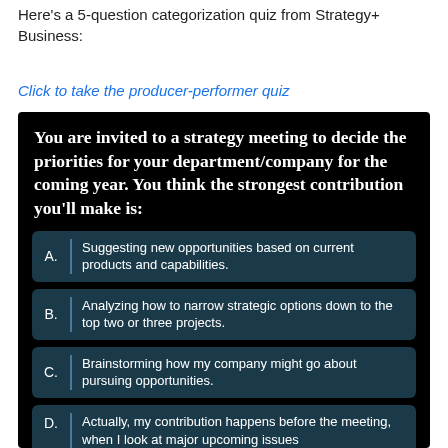Here's a 5-question categorization quiz from Strategy+ Business:
Click to take the producer-performer quiz
[Figure (screenshot): Multiple choice quiz question on dark background. Question: 'You are invited to a strategy meeting to decide the priorities for your department/company for the coming year. You think the strongest contribution you'll make is:' with options A through D.]
A. Suggesting new opportunities based on current products and capabilities.
B. Analyzing how to narrow strategic options down to the top two or three projects.
C. Brainstorming how my company might go about pursuing opportunities.
D. Actually, my contribution happens before the meeting, when I look at major upcoming issues